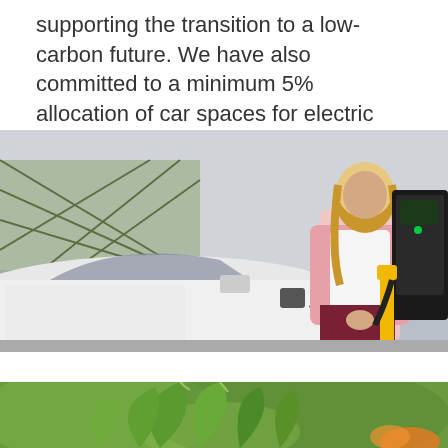supporting the transition to a low-carbon future. We have also committed to a minimum 5% allocation of car spaces for electric vehicles on all new developments.
[Figure (photo): A woman in a pink blazer plugging a charging cable into a white electric vehicle in a parking area. An EV charging station is visible in the background on the right.]
[Figure (photo): Close-up of green succulent or cactus-like plant leaves with a blurred background, partial view at bottom of page.]